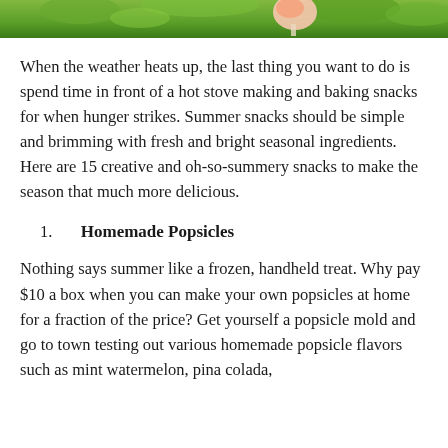[Figure (photo): Top portion of a photo showing green foliage and what appears to be a popsicle or frozen treat being held.]
When the weather heats up, the last thing you want to do is spend time in front of a hot stove making and baking snacks for when hunger strikes. Summer snacks should be simple and brimming with fresh and bright seasonal ingredients. Here are 15 creative and oh-so-summery snacks to make the season that much more delicious.
1. Homemade Popsicles
Nothing says summer like a frozen, handheld treat. Why pay $10 a box when you can make your own popsicles at home for a fraction of the price? Get yourself a popsicle mold and go to town testing out various homemade popsicle flavors such as mint watermelon, pina colada,